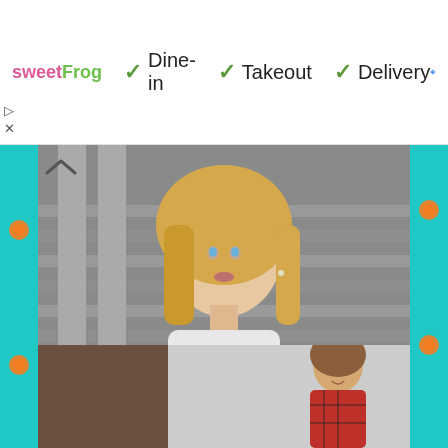[Figure (infographic): sweetFrog ad banner with check marks for Dine-in, Takeout, Delivery services and a Google Maps navigation icon]
[Figure (photo): Portrait of a blonde woman in front of stone steps, advertisement for attorney search]
The Most Famous Attorneys in Ashburn - Take A Look
Attorneys | Search Ads
[Figure (photo): Woman with long brown hair smiling, wearing a red plaid shirt, seated at a table]